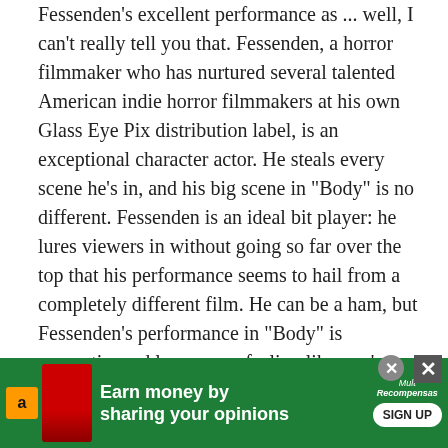Fessenden's excellent performance as ... well, I can't really tell you that. Fessenden, a horror filmmaker who has nurtured several talented American indie horror filmmakers at his own Glass Eye Pix distribution label, is an exceptional character actor. He steals every scene he's in, and his big scene in "Body" is no different. Fessenden is an ideal bit player: he lures viewers in without going so far over the top that his performance seems to hail from a completely different film. He can be a ham, but Fessenden's performance in "Body" is magnetic, and leaves you feeling like you've been turned inside-out.
But "Body" is not about Fessenden. He's a key part of the film's success, but no single part of the movie is more important than the rest. The film's exceptionally consistent mood is its main appeal. For that reason, "Body" reminded me of supposedly minor Alfred Hitchcock masterworks "Dial M for Murder" and ...
[Figure (screenshot): Advertisement banner: green background with Amazon logo, person image, text 'Earn money by sharing your opinions' and a SIGN UP button with Multirecompensas logo. Close buttons visible.]